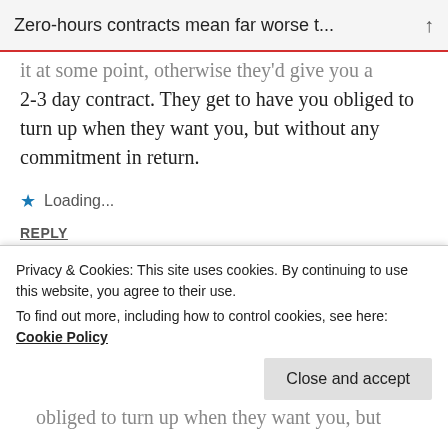Zero-hours contracts mean far worse t...
it at some point, otherwise they'd give you a 2-3 day contract. They get to have you obliged to turn up when they want you, but without any commitment in return.
Loading...
REPLY
skwalker1964  05/08/2013 AT 10:51 PM
I'm glad it's working for you mate – but the
Privacy & Cookies: This site uses cookies. By continuing to use this website, you agree to their use.
To find out more, including how to control cookies, see here: Cookie Policy
Close and accept
obliged to turn up when they want you, but